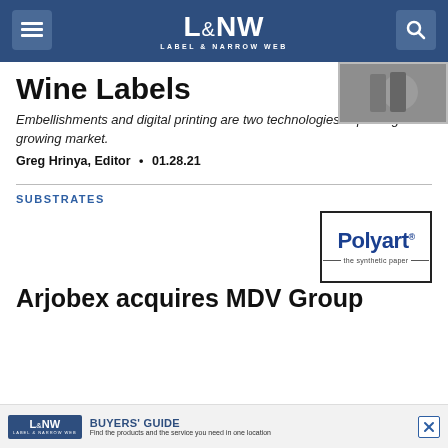L&NW Label & Narrow Web
[Figure (photo): Small thumbnail photo of wine bottles]
Wine Labels
Embellishments and digital printing are two technologies impacting this growing market.
Greg Hrinya, Editor • 01.28.21
SUBSTRATES
[Figure (logo): Polyart. the synthetic paper logo in a bordered box]
Arjobex acquires MDV Group
[Figure (other): L&NW Buyers Guide advertisement banner at bottom of page]